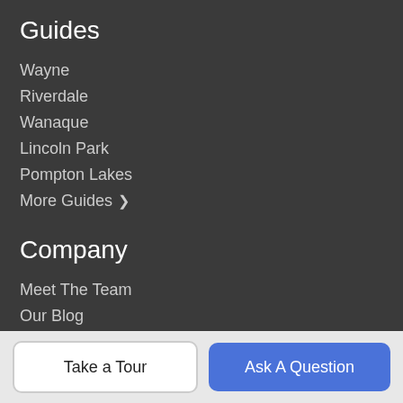Guides
Wayne
Riverdale
Wanaque
Lincoln Park
Pompton Lakes
More Guides >
Company
Meet The Team
Our Blog
Contact Us
Resources
Buy a Home
Take a Tour
Ask A Question